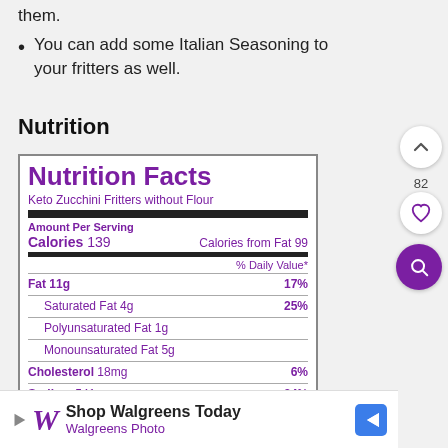them.
You can add some Italian Seasoning to your fritters as well.
Nutrition
| Nutrient | Amount | % Daily Value |
| --- | --- | --- |
| Calories | 139 |  |
| Calories from Fat | 99 |  |
| Fat | 11g | 17% |
| Saturated Fat | 4g | 25% |
| Polyunsaturated Fat | 1g |  |
| Monounsaturated Fat | 5g |  |
| Cholesterol | 18mg | 6% |
| Sodium | 541mg | 24% |
| Potassium | 339mg | 10% |